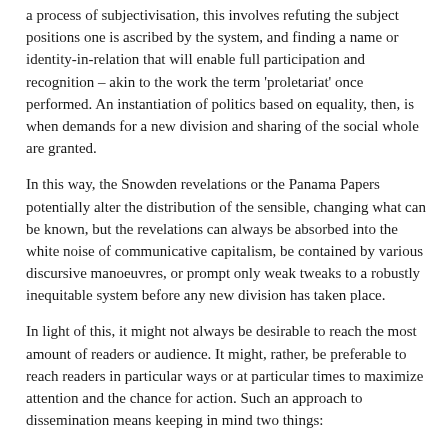a process of subjectivisation, this involves refuting the subject positions one is ascribed by the system, and finding a name or identity-in-relation that will enable full participation and recognition – akin to the work the term 'proletariat' once performed. An instantiation of politics based on equality, then, is when demands for a new division and sharing of the social whole are granted.
In this way, the Snowden revelations or the Panama Papers potentially alter the distribution of the sensible, changing what can be known, but the revelations can always be absorbed into the white noise of communicative capitalism, be contained by various discursive manoeuvres, or prompt only weak tweaks to a robustly inequitable system before any new division has taken place.
In light of this, it might not always be desirable to reach the most amount of readers or audience. It might, rather, be preferable to reach readers in particular ways or at particular times to maximize attention and the chance for action. Such an approach to dissemination means keeping in mind two things:
the confluence between form and content;
the political economy of media forms.